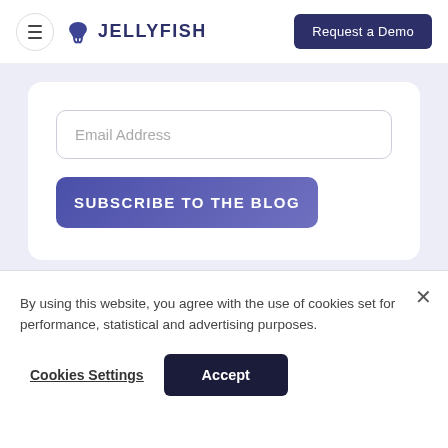[Figure (logo): Jellyfish logo with jellyfish icon and JELLYFISH text in dark navy]
Request a Demo
Email Address
SUBSCRIBE TO THE BLOG
By using this website, you agree with the use of cookies set for performance, statistical and advertising purposes.
Cookies Settings
Accept